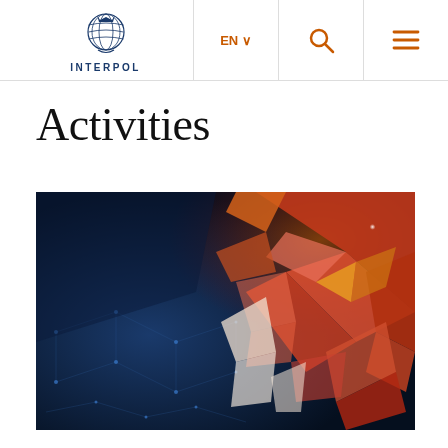INTERPOL
Activities
[Figure (illustration): Abstract 3D geometric illustration with red/orange translucent crystal/diamond shapes against a dark blue background with connecting dots and lines, suggesting a digital/cyber theme]